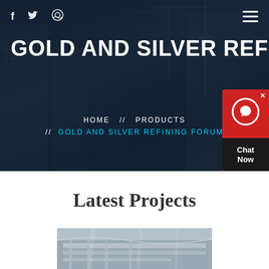f  (twitter)  (dribbble)  ≡
GOLD AND SILVER REFINING FO
HOME  //  PRODUCTS  //  GOLD AND SILVER REFINING FORUM
[Figure (screenshot): Chat Now widget with red background and headset icon]
Latest Projects
[Figure (photo): Construction/industrial interior photo at bottom of page]